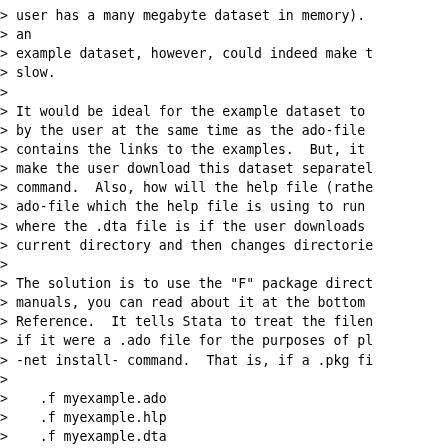> user has a many megabyte dataset in memory).
> an
> example dataset, however, could indeed make t
> slow.
>
> It would be ideal for the example dataset to
> by the user at the same time as the ado-file
> contains the links to the examples.  But, it
> make the user download this dataset separatel
> command.  Also, how will the help file (rathe
> ado-file which the help file is using to run
> where the .dta file is if the user downloads
> current directory and then changes directorie
>
> The solution is to use the "F" package direct
> manuals, you can read about it at the bottom
> Reference.  It tells Stata to treat the filen
> if it were a .ado file for the purposes of pl
> -net install- command.  That is, if a .pkg fi
>
>    .f myexample.ado
>    .f myexample.hlp
>    .f myexample.dta
>
> Stata would place the first two files in the